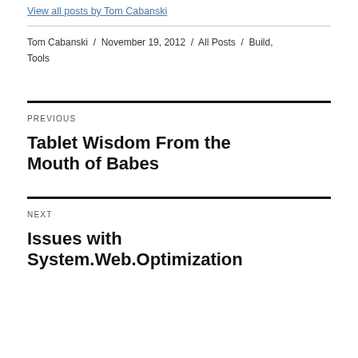View all posts by Tom Cabanski
Tom Cabanski / November 19, 2012 / All Posts / Build, Tools
PREVIOUS
Tablet Wisdom From the Mouth of Babes
NEXT
Issues with System.Web.Optimization